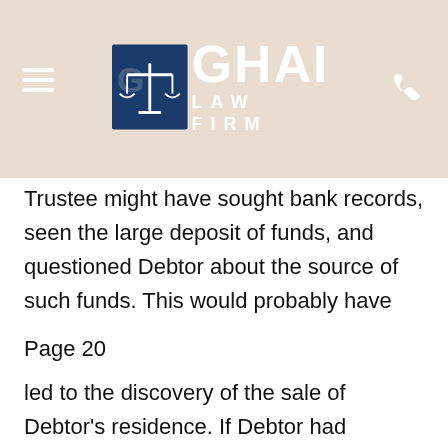GHAI LAW FIRM
Trustee might have sought bank records, seen the large deposit of funds, and questioned Debtor about the source of such funds. This would probably have
Page 20
led to the discovery of the sale of Debtor's residence. If Debtor had disclosed the numerous transfers to Tanner Moore and Debtor's LLC in the months leading up to the filing of this bankruptcy petition, Trustee probably would have questioned the source of